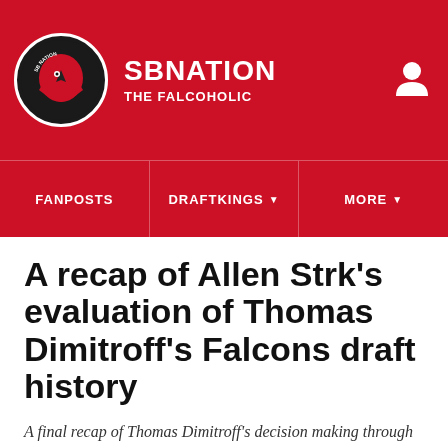SB NATION | THE FALCOHOLIC
FANPOSTS | DRAFTKINGS | MORE
A recap of Allen Strk's evaluation of Thomas Dimitroff's Falcons draft history
A final recap of Thomas Dimitroff's decision making through drafts from 2008 to 2012. The recognition of his biggest achievements and failures.
By Allen Strk | @allenstrk | Apr 30, 2015, 8:50am EDT